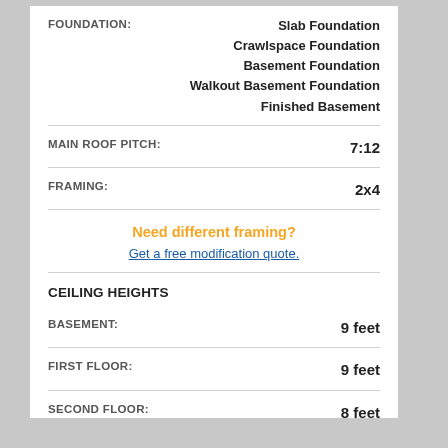| FOUNDATION: |  |
| --- | --- |
|  | Slab Foundation |
|  | Crawlspace Foundation |
|  | Basement Foundation |
|  | Walkout Basement Foundation |
|  | Finished Basement |
| MAIN ROOF PITCH: | 7:12 |
| --- | --- |
| FRAMING: | 2x4 |
| --- | --- |
Need different framing?
Get a free modification quote.
CEILING HEIGHTS
| BASEMENT: | 9 feet |
| --- | --- |
| FIRST FLOOR: | 9 feet |
| --- | --- |
| SECOND FLOOR: | 8 feet |
| --- | --- |